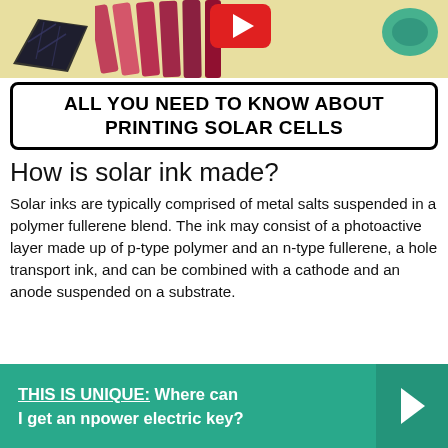[Figure (illustration): Decorative top banner showing a solar panel, colorful ink stripes, red shape, and a green/teal shape on a beige/tan background]
ALL YOU NEED TO KNOW ABOUT PRINTING SOLAR CELLS
How is solar ink made?
Solar inks are typically comprised of metal salts suspended in a polymer fullerene blend. The ink may consist of a photoactive layer made up of p-type polymer and an n-type fullerene, a hole transport ink, and can be combined with a cathode and an anode suspended on a substrate.
THIS IS UNIQUE:  Where can I get an npower electric key?